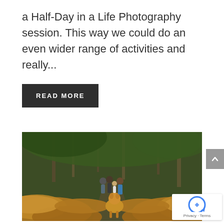a Half-Day in a Life Photography session. This way we could do an even wider range of activities and really...
READ MORE
[Figure (photo): A family with a golden doodle dog walking on a forest path surrounded by golden-brown ferns and green trees]
Privacy · Terms